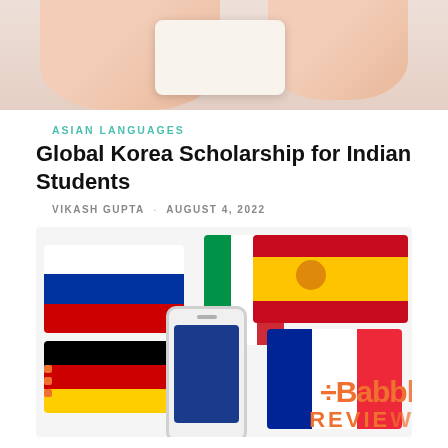[Figure (photo): Cropped top image showing hands holding a card or document, light pink/beige background]
ASIAN LANGUAGES
Global Korea Scholarship for Indian Students
VIKASH GUPTA · AUGUST 4, 2022
[Figure (photo): Illustration showing multiple country flags (Russia, Italy, Spain, Germany, France) arranged in a collage with a smartphone in the foreground and the Babbel app logo partially visible in the bottom right corner]